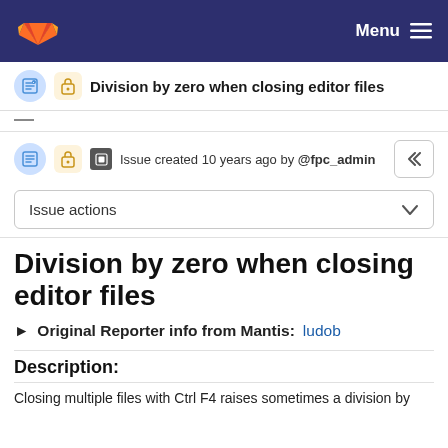Menu
Division by zero when closing editor files
Issue created 10 years ago by @fpc_admin
Issue actions
Division by zero when closing editor files
▶ Original Reporter info from Mantis: ludob
Description:
Closing multiple files with Ctrl F4 raises sometimes a division by zero error in the IDE.